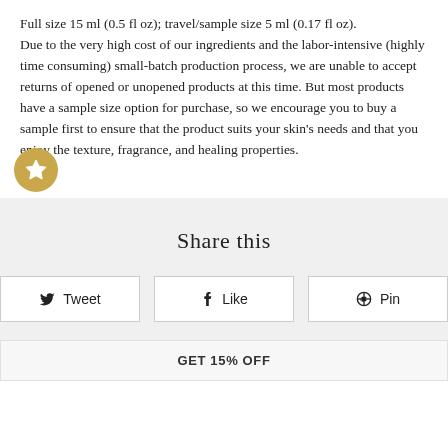Full size 15 ml (0.5 fl oz); travel/sample size 5 ml (0.17 fl oz).
Due to the very high cost of our ingredients and the labor-intensive (highly time consuming) small-batch production process, we are unable to accept returns of opened or unopened products at this time. But most products have a sample size option for purchase, so we encourage you to buy a sample first to ensure that the product suits your skin's needs and that you enjoy the texture, fragrance, and healing properties.
[Figure (illustration): Gold circular badge with a white star icon]
Share this
Tweet  Like  Pin
GET 15% OFF